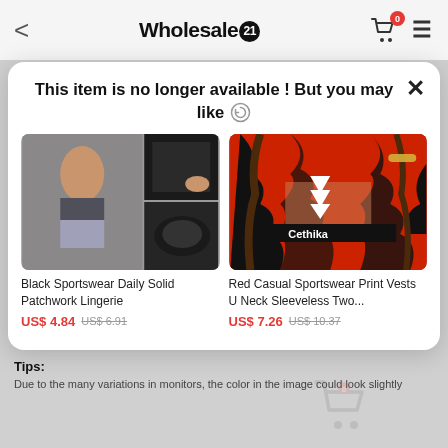Wholesale21
This item is no longer available ! But you may like
[Figure (photo): Black sportswear waist trainer/belt product photo with model wearing it and product detail shots]
Black Sportswear Daily Solid Patchwork Lingerie
US$ 4.84  US$ 6.91
[Figure (photo): Red and black Ethika branded two-piece sportswear set worn by a model]
Red Casual Sportswear Print Vests U Neck Sleeveless Two...
US$ 7.26  US$ 10.37
Tips:
Due to the many variations in monitors, the color in the image could look slightly